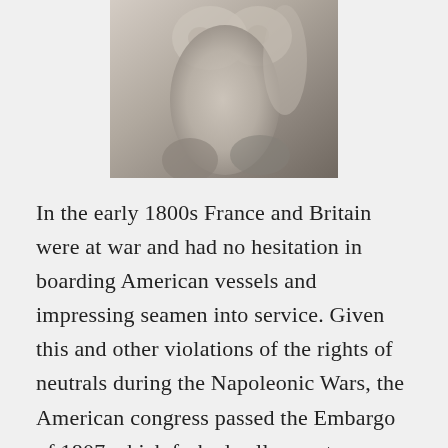[Figure (photo): Black and white photograph of a nude female torso, arms raised, cropped at top and bottom.]
In the early 1800s France and Britain were at war and had no hesitation in boarding American vessels and impressing seamen into service. Given this and other violations of the rights of neutrals during the Napoleonic Wars, the American congress passed the Embargo of 1807 which forbade all exports. Needless to say, manufacturers